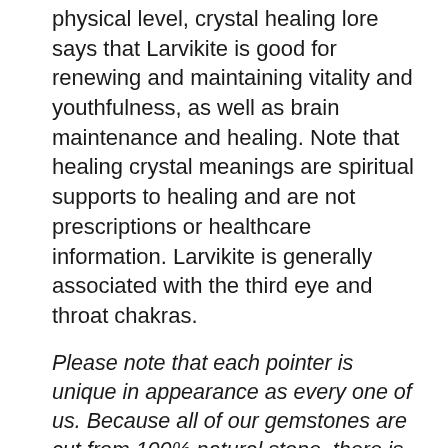physical level, crystal healing lore says that Larvikite is good for renewing and maintaining vitality and youthfulness, as well as brain maintenance and healing. Note that healing crystal meanings are spiritual supports to healing and are not prescriptions or healthcare information. Larvikite is generally associated with the third eye and throat chakras.
Please note that each pointer is unique in appearance as every one of us. Because all of our gemstones are cut from 100% natural stone, there is always color variation. Actual pointer you will receive might not look exactly the same as the one shown in the pictures above, but the color will be similar. We only stock quality gems.
Find Out More about:  Pointers and How To Use Them
THINGS YOU CAN DO